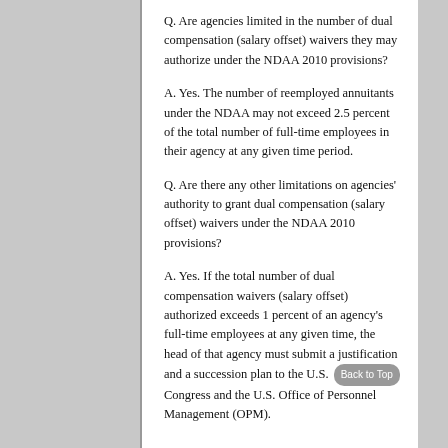Q. Are agencies limited in the number of dual compensation (salary offset) waivers they may authorize under the NDAA 2010 provisions?
A. Yes. The number of reemployed annuitants under the NDAA may not exceed 2.5 percent of the total number of full-time employees in their agency at any given time period.
Q. Are there any other limitations on agencies' authority to grant dual compensation (salary offset) waivers under the NDAA 2010 provisions?
A. Yes. If the total number of dual compensation waivers (salary offset) authorized exceeds 1 percent of an agency's full-time employees at any given time, the head of that agency must submit a justification and a succession plan to the U.S. Congress and the U.S. Office of Personnel Management (OPM).